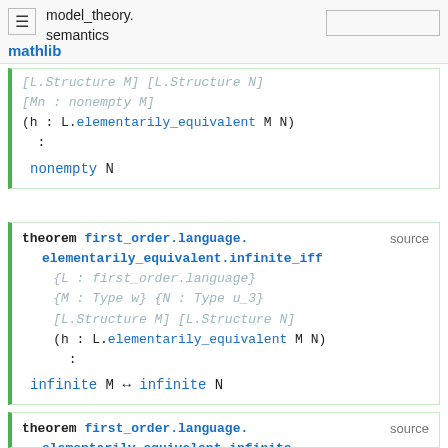model_theory.semantics — mathlib
[L.Structure M] [L.Structure N]
[Mn : nonempty M]
(h : L.elementarily_equivalent M N)
:
nonempty N
theorem first_order.language.elementarily_equivalent.infinite_iff
{L : first_order.language}
{M : Type w} {N : Type u_3}
[L.Structure M] [L.Structure N]
(h : L.elementarily_equivalent M N)
:
infinite M ↔ infinite N
theorem first_order.language.elementarily_equivalent.infinite_...